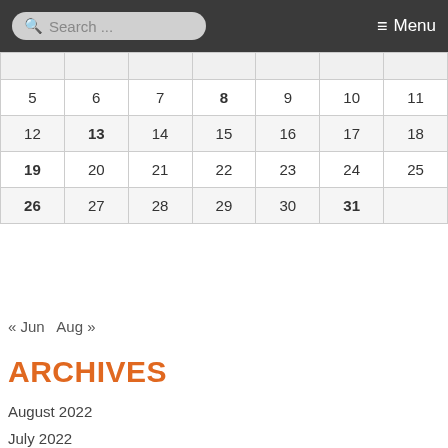Search ... Menu
|  |  |  |  |  |  |  |
| 5 | 6 | 7 | 8 | 9 | 10 | 11 |
| 12 | 13 | 14 | 15 | 16 | 17 | 18 |
| 19 | 20 | 21 | 22 | 23 | 24 | 25 |
| 26 | 27 | 28 | 29 | 30 | 31 |  |
« Jun  Aug »
ARCHIVES
August 2022
July 2022
June 2022
May 2022
April 2022